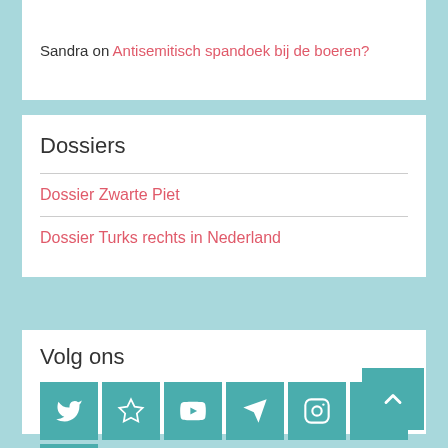Sandra on Antisemitisch spandoek bij de boeren?
Dossiers
Dossier Zwarte Piet
Dossier Turks rechts in Nederland
Volg ons
[Figure (infographic): Social media icons: Twitter, star/favorites, YouTube, Telegram, Instagram, Facebook, RSS feed, and a back-to-top arrow button]